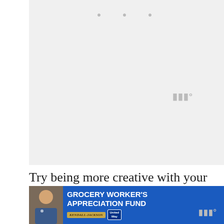[Figure (photo): Light gray placeholder image area with three gray dots at the top center, and a watermark/logo in the bottom right corner. Appears to be a loading or placeholder state for an image slideshow or content card.]
Try being more creative with your meals. You might find some real winners!
[Figure (photo): Advertisement banner for Grocery Worker's Appreciation Fund featuring a photo of a smiling man, Kendall-Jackson and United Way logos, with a close button (X).]